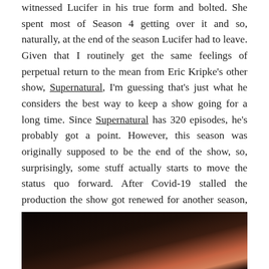witnessed Lucifer in his true form and bolted. She spent most of Season 4 getting over it and so, naturally, at the end of the season Lucifer had to leave. Given that I routinely get the same feelings of perpetual return to the mean from Eric Kripke's other show, Supernatural, I'm guessing that's just what he considers the best way to keep a show going for a long time. Since Supernatural has 320 episodes, he's probably got a point. However, this season was originally supposed to be the end of the show, so, surprisingly, some stuff actually starts to move the status quo forward. After Covid-19 stalled the production the show got renewed for another season, so I don't know if the show will undo that in the second half, but I hope not.
[Figure (photo): Dark image, partially visible, showing a dark background with some warm reddish-brown tones in the lower right corner.]